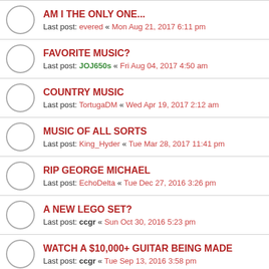AM I THE ONLY ONE... Last post: evered « Mon Aug 21, 2017 6:11 pm
FAVORITE MUSIC? Last post: JOJ650s « Fri Aug 04, 2017 4:50 am
COUNTRY MUSIC Last post: TortugaDM « Wed Apr 19, 2017 2:12 am
MUSIC OF ALL SORTS Last post: King_Hyder « Tue Mar 28, 2017 11:41 pm
RIP GEORGE MICHAEL Last post: EchoDelta « Tue Dec 27, 2016 3:26 pm
A NEW LEGO SET? Last post: ccgr « Sun Oct 30, 2016 5:23 pm
WATCH A $10,000+ GUITAR BEING MADE Last post: ccgr « Tue Sep 13, 2016 3:58 pm